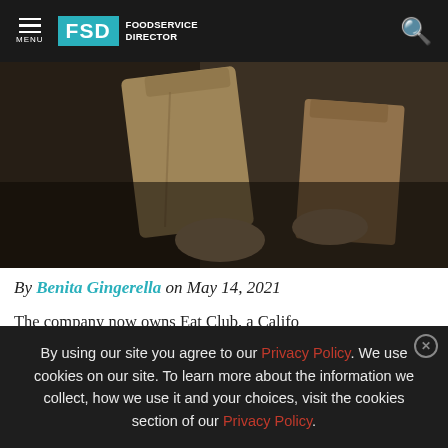FSD FOODSERVICE DIRECTOR — navigation bar with MENU and search icon
[Figure (photo): A person handling brown paper bags/boxes in a foodservice/delivery setting. Dark background with warm tones.]
By Benita Gingerella on May 14, 2021
The company now owns Eat Club, a Califo based bills it
[Figure (other): Advertisement banner for Menu Directions event, Oct. 17-19, 2022, University of Notre Dame. Dark background with yellow accent strip. Close button visible.]
By using our site you agree to our Privacy Policy. We use cookies on our site. To learn more about the information we collect, how we use it and your choices, visit the cookies section of our Privacy Policy.